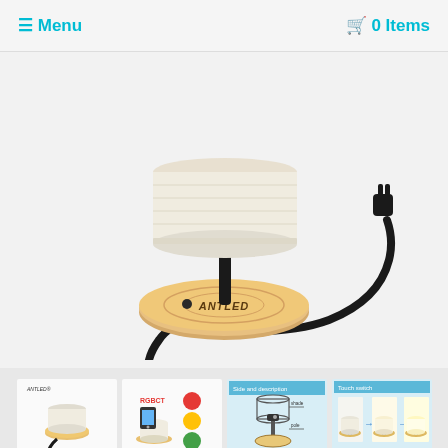≡ Menu    🛒 0 Items
[Figure (photo): Smart table lamp with white cylindrical fabric shade, black metal pole, round solid wood base with ANTLED branding, black power cord with plug]
[Figure (photo): Thumbnail 1: Full lamp product photo]
[Figure (photo): Thumbnail 2: Lamp with RGB color bulb options and smartphone app control]
[Figure (photo): Thumbnail 3: Side and description diagram of lamp parts]
[Figure (photo): Thumbnail 4: Touch switch demonstration showing three brightness levels]